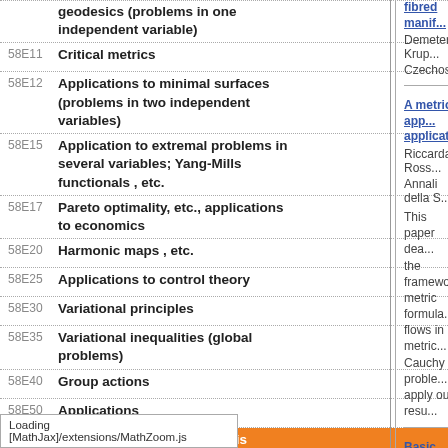geodesics (problems in one independent variable)
58E11 Critical metrics
58E12 Applications to minimal surfaces (problems in two independent variables)
58E15 Application to extremal problems in several variables; Yang-Mills functionals , etc.
58E17 Pareto optimality, etc., applications to economics
58E20 Harmonic maps , etc.
58E25 Applications to control theory
58E30 Variational principles
58E35 Variational inequalities (global problems)
58E40 Group actions
58E50 Applications
58E99 None of the above, but in this section
fibred manif... Demeter Krup... Czechoslovak...
A metric app... applications... Riccarda Ross... Annali della S... This paper dea... the framework... metric formula... flows in metric... Cauchy proble... apply our resu...
Basic Brane... Brandon Carte... Recherche Co...
Blow-up and... Wei-Yue Ding,... Inventiones m...
BV solution...
Loading [MathJax]/extensions/MathZoom.js